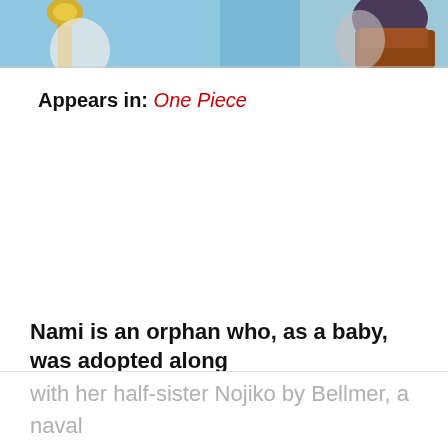[Figure (illustration): Cropped anime screenshot showing two characters against a blue sky background. Left side shows a character with a yellow/gold object. Right side shows a character with dark hair and a brown/orange garment.]
Appears in: One Piece
Nami is an orphan who, as a baby, was adopted along
with her half-sister Nojiko by Bellmer, a naval lieutenant. The three went to live in the village of Coco